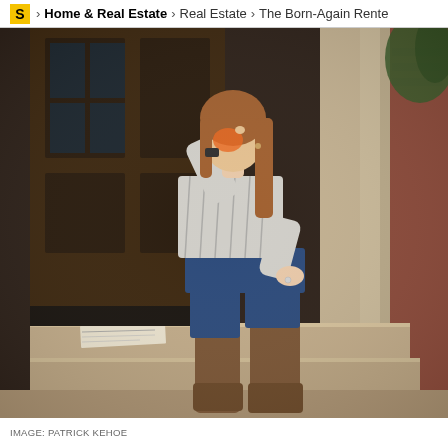S > Home & Real Estate > Real Estate > The Born-Again Rente
[Figure (photo): A woman wearing a plaid shirt, jeans, and brown knee-high boots sits on stone steps outside a building with wooden doors, drinking from an orange mug. A newspaper lies on the step beside her.]
IMAGE: PATRICK KEHOE